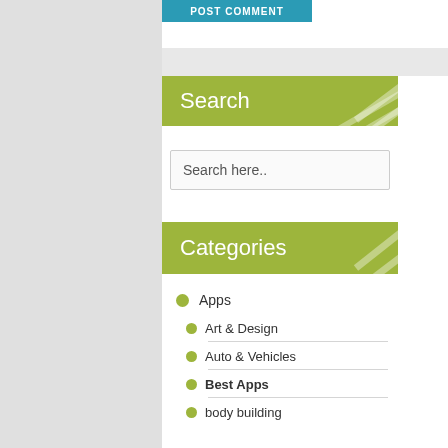POST COMMENT
Search
Search here..
Categories
Apps
Art & Design
Auto & Vehicles
Best Apps
body building